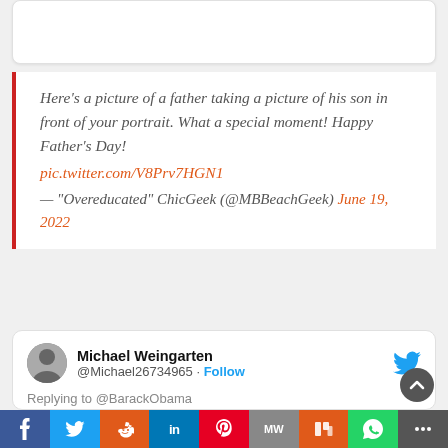[Figure (other): Top partial card stub (white rounded box, partially visible)]
Here’s a picture of a father taking a picture of his son in front of your portrait. What a special moment! Happy Father’s Day! pic.twitter.com/V8Prv7HGN1 — “Overeducated” ChicGeek (@MBBeachGeek) June 19, 2022
[Figure (screenshot): Tweet card from Michael Weingarten (@Michael26734965) replying to @BarackObama. Text: We literally live the same life, you are a great Dad! I have two daughters the sa[me]... Twitter bird icon top right.]
[Figure (other): Social share bar with icons for Facebook, Twitter, Reddit, LinkedIn, Pinterest, MeWe, Mix, WhatsApp, and More (share)]